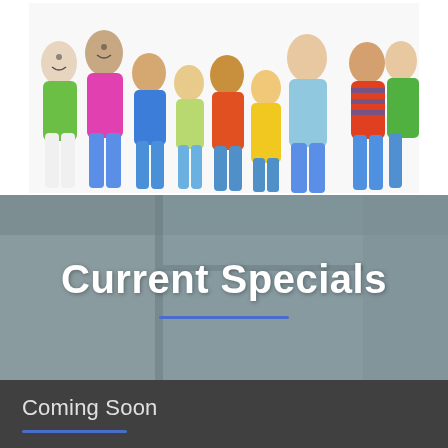[Figure (photo): Group photo of diverse children and adults (approximately 10-12 people) looking up at camera, wearing colorful clothing on a white background]
Current Specials
Coming Soon